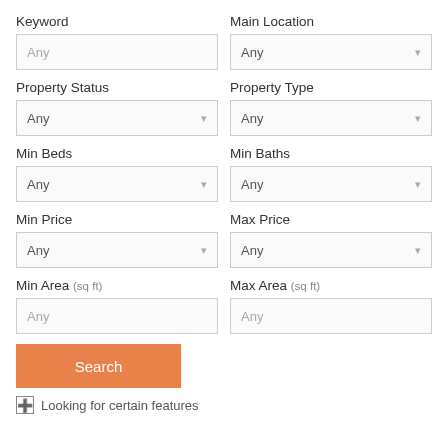Keyword
Main Location
Property Status
Property Type
Min Beds
Min Baths
Min Price
Max Price
Min Area (sq ft)
Max Area (sq ft)
Search
+ Looking for certain features